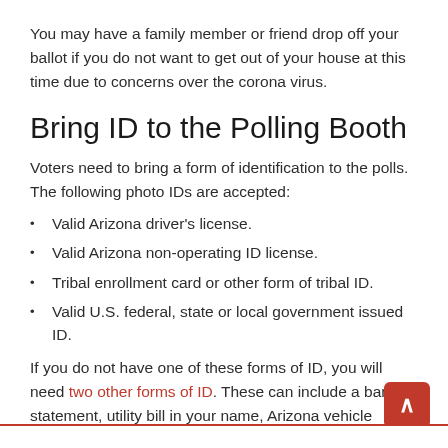You may have a family member or friend drop off your ballot if you do not want to get out of your house at this time due to concerns over the corona virus.
Bring ID to the Polling Booth
Voters need to bring a form of identification to the polls. The following photo IDs are accepted:
Valid Arizona driver's license.
Valid Arizona non-operating ID license.
Tribal enrollment card or other form of tribal ID.
Valid U.S. federal, state or local government issued ID.
If you do not have one of these forms of ID, you will need two other forms of ID. These can include a bank statement, utility bill in your name, Arizona vehicle registration, property tax statement in your name, among other options.